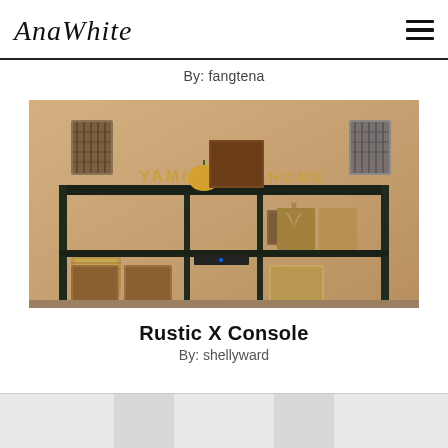AnaWhite
By: fangtena
[Figure (photo): Dark wood rustic console table with shelving units, decorated with baskets, framed photos, antler decorations, and seasonal items against a tan/beige wall.]
Rustic X Console
By: shellyward
[Figure (photo): Partial view of another project photo, cropped at bottom of page.]